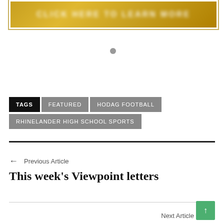[Figure (photo): Golden/yellow banner advertisement with blurred white text, decorative border]
[Figure (other): Small gray circular dot indicator]
TAGS  FEATURED  HODAG FOOTBALL  RHINELANDER HIGH SCHOOL SPORTS
← Previous Article
This week's Viewpoint letters
Next Article